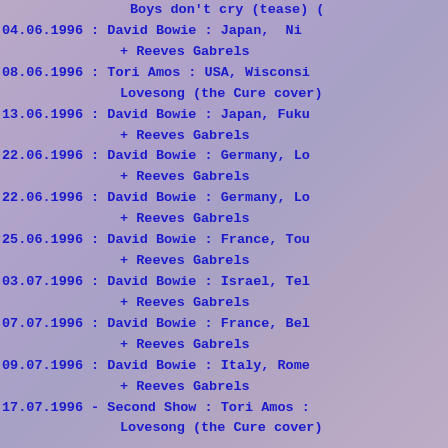Boys don't cry (tease) (…
04.06.1996 : David Bowie : Japan, Ni…
    + Reeves Gabrels
08.06.1996 : Tori Amos : USA, Wisconsi…
    Lovesong (the Cure cover)
13.06.1996 : David Bowie : Japan, Fuku…
    + Reeves Gabrels
22.06.1996 : David Bowie : Germany, Lo…
    + Reeves Gabrels
22.06.1996 : David Bowie : Germany, Lo…
    + Reeves Gabrels
25.06.1996 : David Bowie : France, Tou…
    + Reeves Gabrels
03.07.1996 : David Bowie : Israel, Tel…
    + Reeves Gabrels
07.07.1996 : David Bowie : France, Bel…
    + Reeves Gabrels
09.07.1996 : David Bowie : Italy, Rome…
    + Reeves Gabrels
17.07.1996 - Second Show : Tori Amos :…
    Lovesong (the Cure cover)…